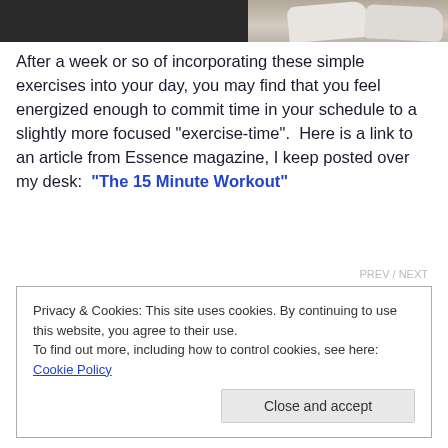[Figure (photo): Bottom portion of a person's legs wearing athletic sneakers, dark background, gym/fitness setting]
After a week or so of incorporating these simple exercises into your day, you may find that you feel energized enough to commit time in your schedule to a slightly more focused "exercise-time".  Here is a link to an article from Essence magazine, I keep posted over my desk:  "The 15 Minute Workout"
Privacy & Cookies: This site uses cookies. By continuing to use this website, you agree to their use.
To find out more, including how to control cookies, see here: Cookie Policy
Close and accept